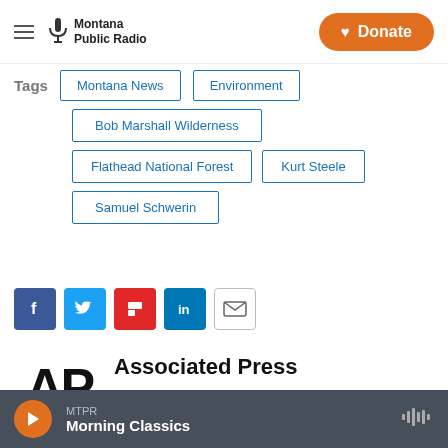Montana Public Radio | Donate
Tags: Montana News, Environment, Bob Marshall Wilderness, Flathead National Forest, Kurt Steele, Samuel Schwerin
[Figure (other): Social sharing icons: Facebook, Twitter, Flipboard, LinkedIn, Email]
[Figure (logo): AP (Associated Press) logo — bold black letters AP]
Associated Press
The Associated Press is one of the largest
MTPR Morning Classics — audio player bar